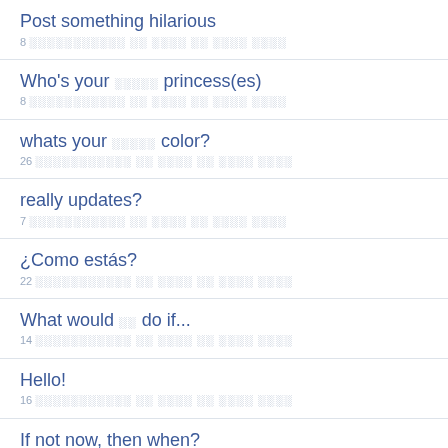Post something hilarious
8 ░░░░░░░░░░░ ░░ ░░░░ ░░ ░░░░ ░░░░
Who's your ░░░░░ princess(es)
8 ░░░░░░░░░░░ ░░ ░░░░ ░░ ░░░░ ░░░░
whats your ░░░░░ color?
26 ░░░░░░░░░░░ ░░ ░░░░ ░░ ░░░░ ░░░░
really updates?
7 ░░░░░░░░░░░ ░░ ░░░░ ░░ ░░░░ ░░░░
¿Como estás?
22 ░░░░░░░░░░░ ░░ ░░░░ ░░ ░░░░ ░░░░
What would ░░ do if...
14 ░░░░░░░░░░░ ░░ ░░░░ ░░ ░░░░ ░░░░
Hello!
16 ░░░░░░░░░░░ ░░ ░░░░ ░░ ░░░░ ░░░░
If not now, then when?
14 ░░░░░░░░░░░ ░░ ░░░░ ░░ ░░░░ ░░░░
What store would ░░ choose to max out your credit card?
10 ░░░░░░░░░░░ ░░ ░░░░ ░░ ░░░░ ░░░░
What one thing have ░░ not done that ░░ really want to